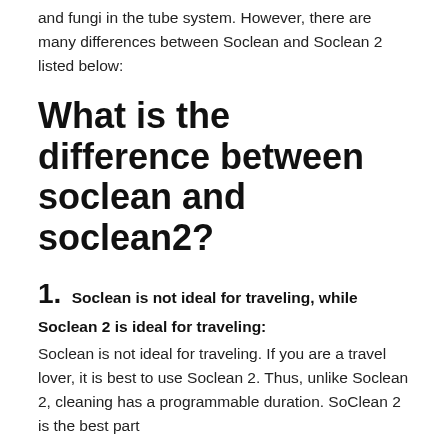and fungi in the tube system. However, there are many differences between Soclean and Soclean 2 listed below:
What is the difference between soclean and soclean2?
1. Soclean is not ideal for traveling, while Soclean 2 is ideal for traveling: Soclean is not ideal for traveling. If you are a travel lover, it is best to use Soclean 2. Thus, unlike Soclean 2, cleaning has a programmable duration. SoClean 2 is the best part